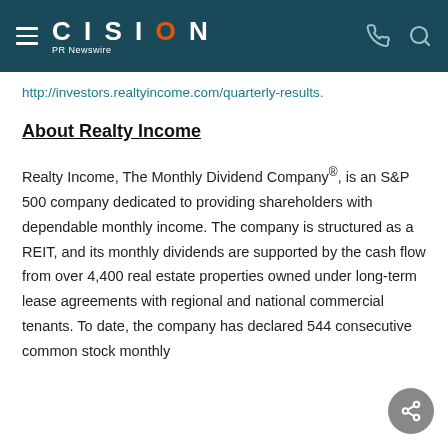CISION PR Newswire
http://investors.realtyincome.com/quarterly-results.
About Realty Income
Realty Income, The Monthly Dividend Company®, is an S&P 500 company dedicated to providing shareholders with dependable monthly income. The company is structured as a REIT, and its monthly dividends are supported by the cash flow from over 4,400 real estate properties owned under long-term lease agreements with regional and national commercial tenants. To date, the company has declared 544 consecutive common stock monthly